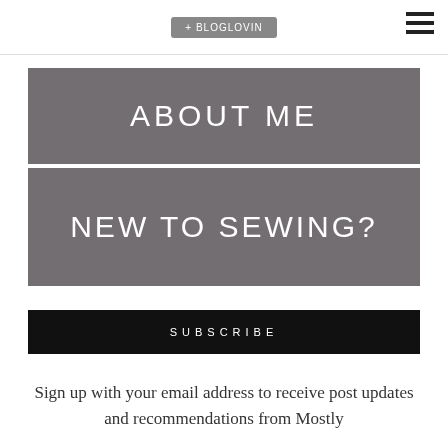+ BLOGLOVIN
ABOUT ME
NEW TO SEWING?
SUBSCRIBE
Sign up with your email address to receive post updates and recommendations from Mostly